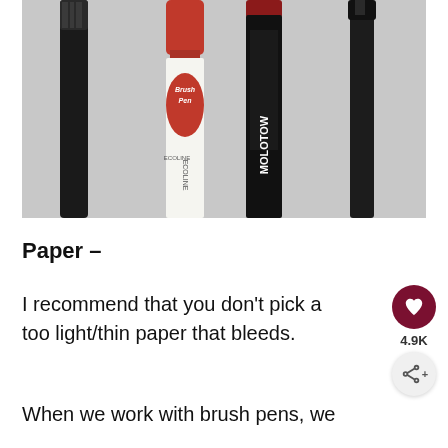[Figure (photo): Four brush pens/markers laid side by side on a light gray background. From left to right: a black pen, a red-capped Ecoline Brush Pen (white barrel with red branding), a Molotow marker (dark with red cap and vertical text), and a black fine-liner pen.]
Paper –
I recommend that you don't pick a too light/thin paper that bleeds.
When we work with brush pens, we